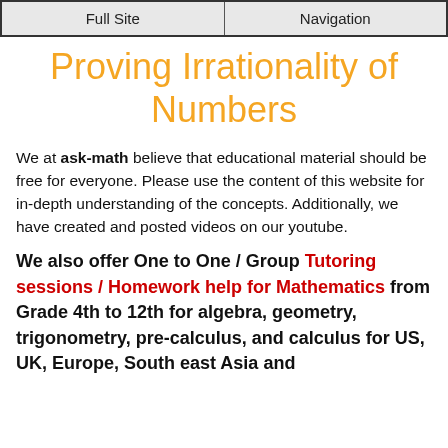Full Site | Navigation
Proving Irrationality of Numbers
We at ask-math believe that educational material should be free for everyone. Please use the content of this website for in-depth understanding of the concepts. Additionally, we have created and posted videos on our youtube.
We also offer One to One / Group Tutoring sessions / Homework help for Mathematics from Grade 4th to 12th for algebra, geometry, trigonometry, pre-calculus, and calculus for US, UK, Europe, South east Asia and